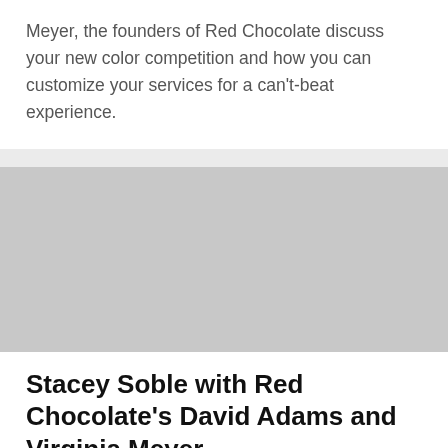Meyer, the founders of Red Chocolate discuss your new color competition and how you can customize your services for a can't-beat experience.
[Figure (photo): A placeholder gray image rectangle representing a photo related to the article about Stacey Soble with Red Chocolate's David Adams and Virginia Meyer.]
Stacey Soble with Red Chocolate's David Adams and Virginia Meyer